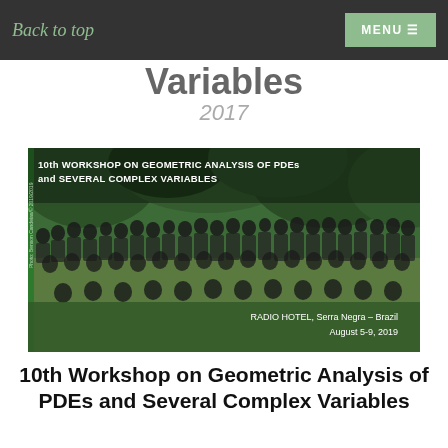Back to top | MENU
Variables
2017
[Figure (photo): Group photo of workshop participants at 10th Workshop on Geometric Analysis of PDEs and Several Complex Variables, RADIO HOTEL, Serra Negra – Brazil, August 5-9, 2019]
10th Workshop on Geometric Analysis of PDEs and Several Complex Variables